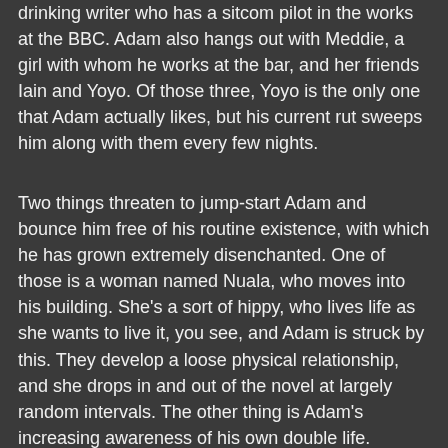drinking writer who has a sitcom pilot in the works at the BBC. Adam also hangs out with Meddie, a girl with whom he works at the bar, and her friends Iain and Yoyo. Of those three, Yoyo is the only one that Adam actually likes, but his current rut sweeps him along with them every few nights.
Two things threaten to jump-start Adam and bounce him free of his routine existence, with which he has grown extremely disenchanted. One of those is a woman named Nuala, who moves into his building. She's a sort of hippy, who lives life as she wants to live it, you see, and Adam is struck by this. They develop a loose physical relationship, and she drops in and out of the novel at largely random intervals. The other thing is Adam's increasing awareness of his own double life. Because on one hand, yes, he's Adam Buckley, liver of the life I've described above, but on the other hand he's Monck, citizen and soldier of an underground world which makes its home in an around London's tube stations. In London (or "Topside", as this other society refers to our world), Adam exists as a sort of unwitting double agent, his ultimate goal being to find and kill Blore. Blore is It, or the Pusher, whose violent activities -- the scope of which have been escalating,